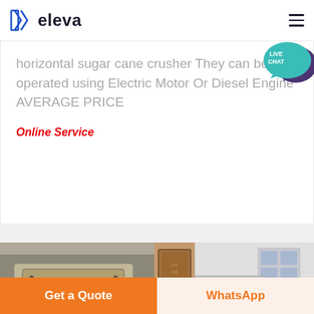eleva
[Figure (illustration): Live chat speech bubble icon with teal background and darker purple speech bubble, text: LIVE CHAT]
horizontal sugar cane crusher They can be operated using Electric Motor Or Diesel Engine AVERAGE PRICE
Online Service
[Figure (photo): Industrial machinery - horizontal sugar cane crusher equipment in a factory/warehouse setting, two photos side by side]
Get a Quote
WhatsApp